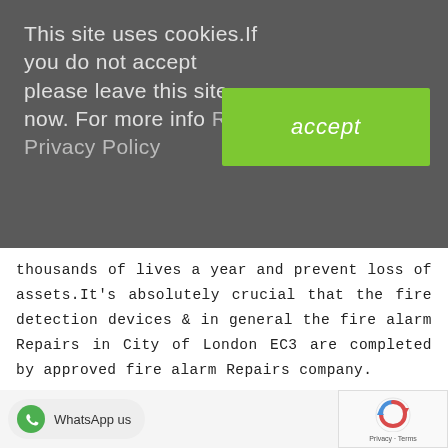This site uses cookies.If you do not accept please leave this site now. For more info Read Privacy Policy
accept
thousands of lives a year and prevent loss of assets.It's absolutely crucial that the fire detection devices & in general the fire alarm Repairs in City of London EC3 are completed by approved fire alarm Repairs company.
[Figure (logo): WhatsApp logo green circle with phone icon]
WhatsApp us
[Figure (logo): Google reCAPTCHA logo with Privacy and Terms text]